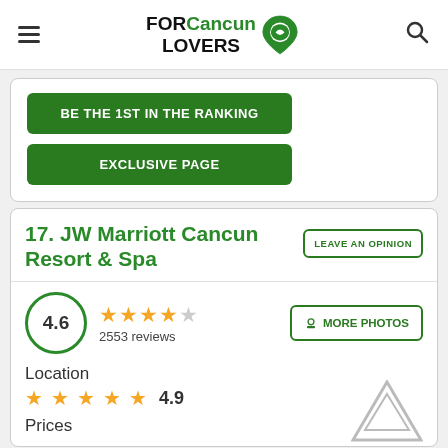FOR Cancun LOVERS
BE THE 1ST IN THE RANKING
EXCLUSIVE PAGE
17. JW Marriott Cancun Resort & Spa
LEAVE AN OPINION
4.6 — 2553 reviews
MORE PHOTOS
Location
4.9
Prices